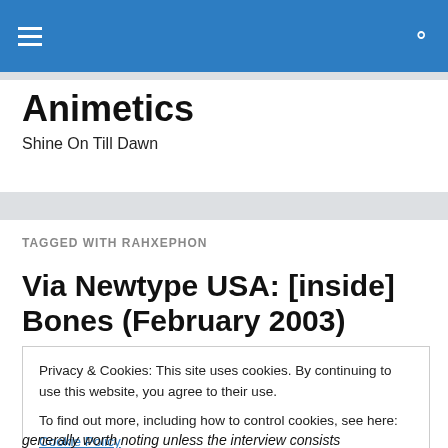Animetics — navigation bar with hamburger menu and search icon
Animetics
Shine On Till Dawn
TAGGED WITH RAHXEPHON
Via Newtype USA: [inside] Bones (February 2003)
Privacy & Cookies: This site uses cookies. By continuing to use this website, you agree to their use.
To find out more, including how to control cookies, see here: Cookie Policy
generally worth noting unless the interview consists